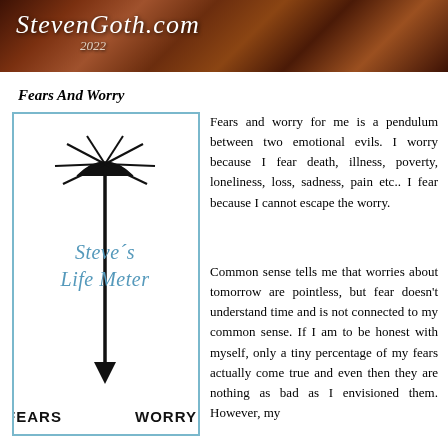StevenGoth.com 2022
Fears And Worry
[Figure (illustration): Steve's Life Meter illustration: a pendulum arrow pointing downward from a sun-burst at top, with 'Steve's Life Meter' text in blue, and 'FEARS' and 'WORRY' labels at bottom left and right respectively.]
Fears and worry for me is a pendulum between two emotional evils. I worry because I fear death, illness, poverty, loneliness, loss, sadness, pain etc.. I fear because I cannot escape the worry.
Common sense tells me that worries about tomorrow are pointless, but fear doesn't understand time and is not connected to my common sense. If I am to be honest with myself, only a tiny percentage of my fears actually come true and even then they are nothing as bad as I envisioned them. However, my